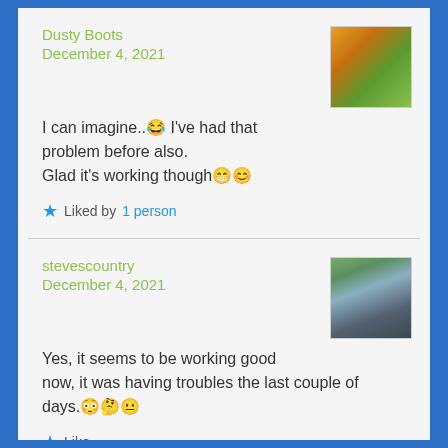Dusty Boots
December 4, 2021
I can imagine..😂 I've had that problem before also.
Glad it's working though😁😊
★ Liked by 1 person
stevescountry
December 4, 2021
Yes, it seems to be working good now, it was having troubles the last couple of days.😳🤔😐
★ Like